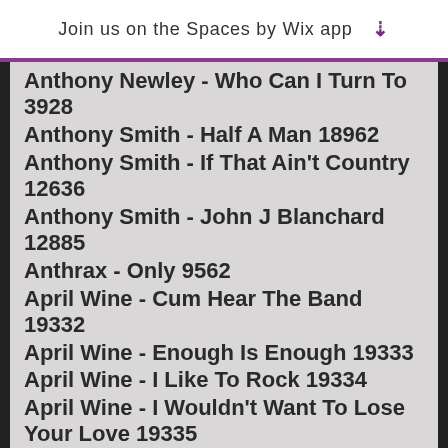Join us on the Spaces by Wix app
Anthony Newley - Who Can I Turn To 3928
Anthony Smith - Half A Man 18962
Anthony Smith - If That Ain't Country 12636
Anthony Smith - John J Blanchard 12885
Anthrax - Only 9562
April Wine - Cum Hear The Band 19332
April Wine - Enough Is Enough 19333
April Wine - I Like To Rock 19334
April Wine - I Wouldn't Want To Lose Your Love 19335
April Wine - Just Between You And Me 19336
April Wine - Rock And Roll Is A (partial)